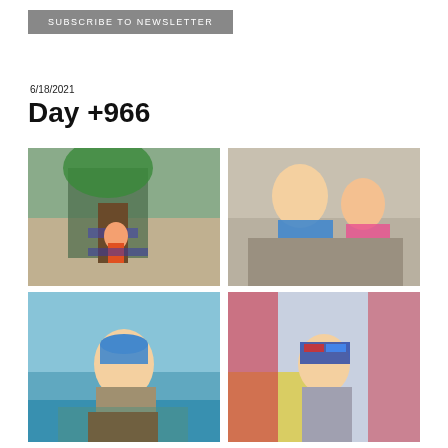SUBSCRIBE TO NEWSLETTER
6/18/2021
Day +966
[Figure (photo): Child posing in front of a large Hulk statue display indoors]
[Figure (photo): Bald child (patient) sitting with a younger sibling on a couch]
[Figure (photo): Child with sunglasses hat at a water park]
[Figure (photo): Child wearing USA glasses prop holding a popsicle in a bounce house]